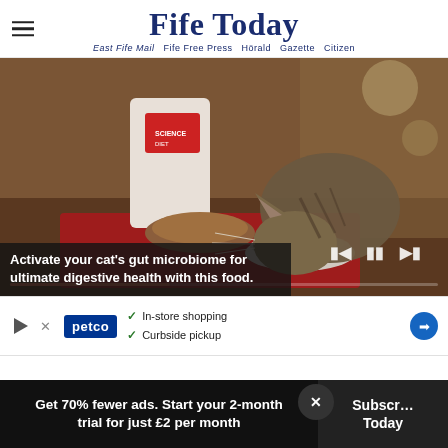Fife Today — East Fife Mail  Fife Free Press  Herald  Gazette  Citizen
[Figure (photo): A tabby cat eating from a bowl on a red mat, with a bag of Hill's Science Diet cat food in the background. Video player controls and progress bar visible.]
Activate your cat's gut microbiome for ultimate digestive health with this food.
[Figure (other): Petco advertisement banner: In-store shopping, Curbside pickup, with directional arrow icon.]
Get 70% fewer ads. Start your 2-month trial for just £2 per month
Subscribe Today